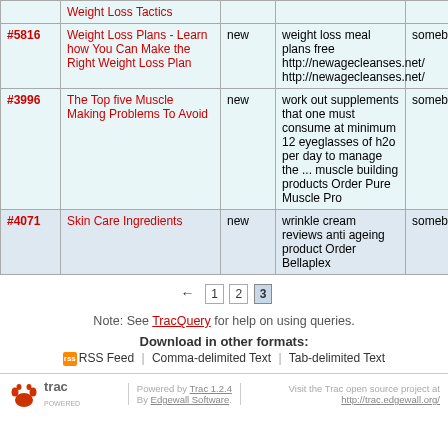| # | Title | Status | Description | Reporter |
| --- | --- | --- | --- | --- |
|  | Weight Loss Tactics |  |  |  |
| #5816 | Weight Loss Plans - Learn how You Can Make the Right Weight Loss Plan | new | weight loss meal plans free http://newagecleanses.net/ http://newagecleanses.net/ | somebo… |
| #3996 | The Top five Muscle Making Problems To Avoid | new | work out supplements that one must consume at minimum 12 eyeglasses of h2o per day to manage the ... muscle building products Order Pure Muscle Pro | somebo… |
| #4071 | Skin Care Ingredients | new | wrinkle cream reviews anti ageing product Order Bellaplex | somebo… |
← 1 2 3
Note: See TracQuery for help on using queries.
Download in other formats:
RSS Feed | Comma-delimited Text | Tab-delimited Text
Powered by Trac 1.2.4 By Edgewall Software. Visit the Trac open source project at http://trac.edgewall.org/